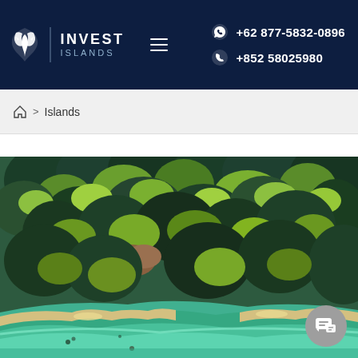INVEST ISLANDS | +62 877-5832-0896 | +852 58025980
🏠 > Islands
[Figure (photo): Aerial drone photograph of a tropical island showing dense green forest canopy and turquoise shallow water shoreline with white sandy beach areas]